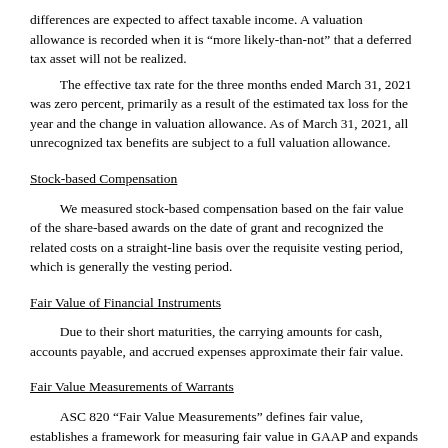differences are expected to affect taxable income. A valuation allowance is recorded when it is “more likely-than-not” that a deferred tax asset will not be realized.
The effective tax rate for the three months ended March 31, 2021 was zero percent, primarily as a result of the estimated tax loss for the year and the change in valuation allowance. As of March 31, 2021, all unrecognized tax benefits are subject to a full valuation allowance.
Stock-based Compensation
We measured stock-based compensation based on the fair value of the share-based awards on the date of grant and recognized the related costs on a straight-line basis over the requisite vesting period, which is generally the vesting period.
Fair Value of Financial Instruments
Due to their short maturities, the carrying amounts for cash, accounts payable, and accrued expenses approximate their fair value.
Fair Value Measurements of Warrants
ASC 820 “Fair Value Measurements” defines fair value, establishes a framework for measuring fair value in GAAP and expands disclosures about fair value measurements. ASC 820 defines fair value as the price that would be received to sell an asset or paid to transfer a liability in an orderly transaction between market participants at the measurement date. ASC 820